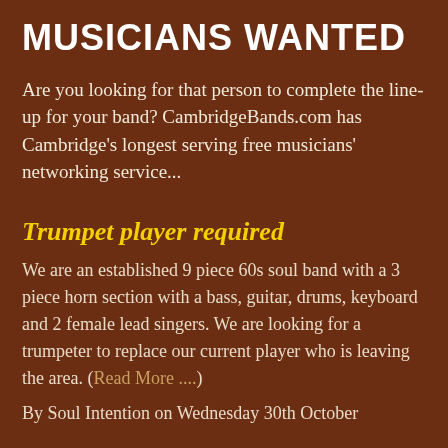MUSICIANS WANTED
Are you looking for that person to complete the line-up for your band? CambridgeBands.com has Cambridge's longest serving free musicians' networking service...
Trumpet player required
We are an established 9 piece 60s soul band with a 3 piece horn section with a bass, guitar, drums, keyboard and 2 female lead singers. We are looking for a trumpeter to replace our current player who is leaving the area. (Read More ....)
By Soul Intention on Wednesday 30th October 2013, 03:18:22